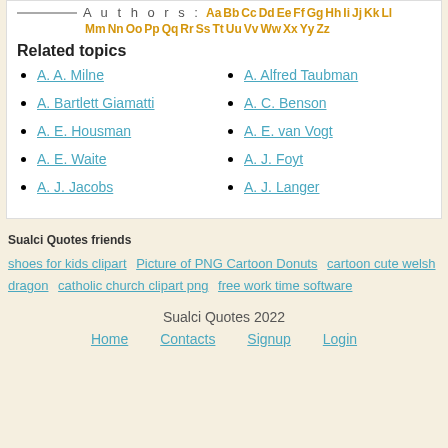Authors: Aa Bb Cc Dd Ee Ff Gg Hh Ii Jj Kk Ll Mm Nn Oo Pp Qq Rr Ss Tt Uu Vv Ww Xx Yy Zz
Related topics
A. A. Milne
A. Alfred Taubman
A. Bartlett Giamatti
A. C. Benson
A. E. Housman
A. E. van Vogt
A. E. Waite
A. J. Foyt
A. J. Jacobs
A. J. Langer
Sualci Quotes friends
shoes for kids clipart  Picture of PNG Cartoon Donuts  cartoon cute welsh dragon  catholic church clipart png  free work time software
Sualci Quotes 2022
Home  Contacts  Signup  Login